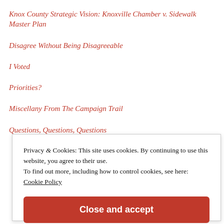Knox County Strategic Vision: Knoxville Chamber v. Sidewalk Master Plan
Disagree Without Being Disagreeable
I Voted
Priorities?
Miscellany From The Campaign Trail
Questions, Questions, Questions
Privacy & Cookies: This site uses cookies. By continuing to use this website, you agree to their use.
To find out more, including how to control cookies, see here: Cookie Policy
Close and accept